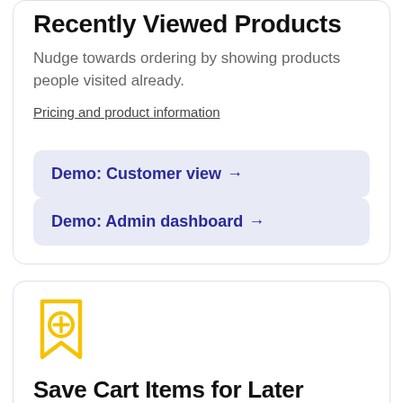Recently Viewed Products
Nudge towards ordering by showing products people visited already.
Pricing and product information
Demo: Customer view →
Demo: Admin dashboard →
[Figure (illustration): Yellow bookmark icon with a plus sign circle]
Save Cart Items for Later
Save cart items for later - convenience of wish list without the complications.